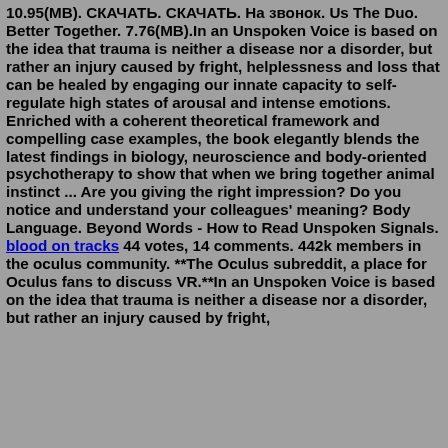10.95(MB). СКАЧАТЬ. СКАЧАТЬ. На звонок. Us The Duo. Better Together. 7.76(MB).In an Unspoken Voice is based on the idea that trauma is neither a disease nor a disorder, but rather an injury caused by fright, helplessness and loss that can be healed by engaging our innate capacity to self-regulate high states of arousal and intense emotions. Enriched with a coherent theoretical framework and compelling case examples, the book elegantly blends the latest findings in biology, neuroscience and body-oriented psychotherapy to show that when we bring together animal instinct ... Are you giving the right impression? Do you notice and understand your colleagues' meaning? Body Language. Beyond Words - How to Read Unspoken Signals. blood on tracks 44 votes, 14 comments. 442k members in the oculus community. **The Oculus subreddit, a place for Oculus fans to discuss VR.**In an Unspoken Voice is based on the idea that trauma is neither a disease nor a disorder, but rather an injury caused by fright, helplessness and loss that can be healed by engaging our innate capacity...